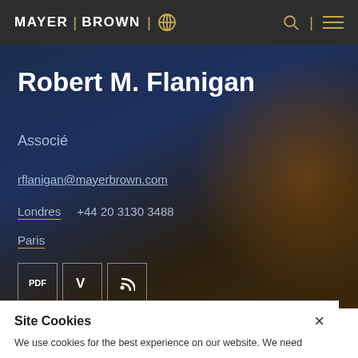MAYER | BROWN
Robert M. Flanigan
Associé
rflanigan@mayerbrown.com
Londres   +44 20 3130 3488
Paris
Site Cookies
We use cookies for the best experience on our website. We need